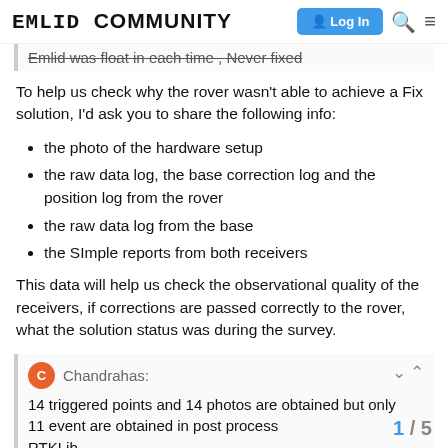EMLID COMMUNITY  Log In
Emlid was float in each time , Never fixed
To help us check why the rover wasn't able to achieve a Fix solution, I'd ask you to share the following info:
the photo of the hardware setup
the raw data log, the base correction log and the position log from the rover
the raw data log from the base
the SImple reports from both receivers
This data will help us check the observational quality of the receivers, if corrections are passed correctly to the rover, what the solution status was during the survey.
Chandrahas:
14 triggered points and 14 photos are obtained but only 11 event are obtained in post process RTKLib
1 / 5